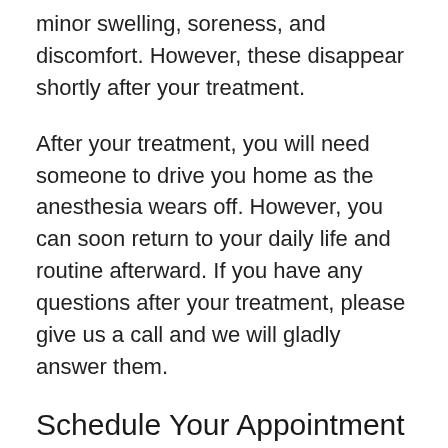minor swelling, soreness, and discomfort. However, these disappear shortly after your treatment.
After your treatment, you will need someone to drive you home as the anesthesia wears off. However, you can soon return to your daily life and routine afterward. If you have any questions after your treatment, please give us a call and we will gladly answer them.
Schedule Your Appointment
If you are suffering from prostate cancer, there is a chance you don't need surgery. With HIFU, you can have successful treatment without placing additional strain on your body. Take the first step to receiving this non-surgical treatment today when